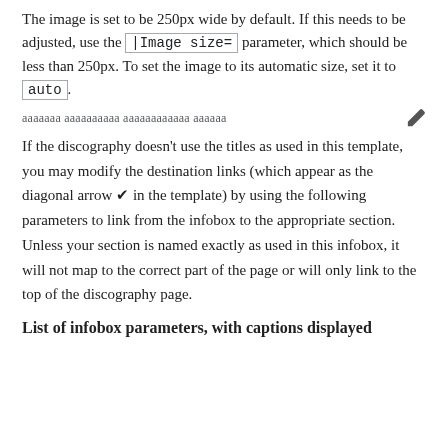The image is set to be 250px wide by default. If this needs to be adjusted, use the |Image size= parameter, which should be less than 250px. To set the image to its automatic size, set it to auto.
ааааааа аааааааааа аааааааааааа аааааа
If the discography doesn't use the titles as used in this template, you may modify the destination links (which appear as the diagonal arrow ✔ in the template) by using the following parameters to link from the infobox to the appropriate section. Unless your section is named exactly as used in this infobox, it will not map to the correct part of the page or will only link to the top of the discography page.
List of infobox parameters, with captions displayed